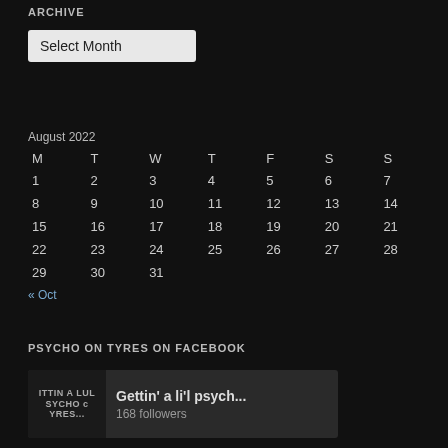ARCHIVE
Select Month
August 2022
| M | T | W | T | F | S | S |
| --- | --- | --- | --- | --- | --- | --- |
| 1 | 2 | 3 | 4 | 5 | 6 | 7 |
| 8 | 9 | 10 | 11 | 12 | 13 | 14 |
| 15 | 16 | 17 | 18 | 19 | 20 | 21 |
| 22 | 23 | 24 | 25 | 26 | 27 | 28 |
| 29 | 30 | 31 |  |  |  |  |
« Oct
PSYCHO ON TYRES ON FACEBOOK
Gettin' a li'l psych... 168 followers